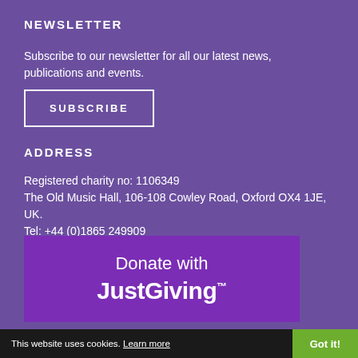NEWSLETTER
Subscribe to our newsletter for all our latest news, publications and events.
SUBSCRIBE
ADDRESS
Registered charity no: 1106349
The Old Music Hall, 106-108 Cowley Road, Oxford OX4 1JE, UK.
Tel: +44 (0)1865 249909
Email: info@inasp.info
[Figure (other): JustGiving donation banner with text 'Donate with JustGiving™' on purple background]
This website uses cookies. Learn more   Got it!